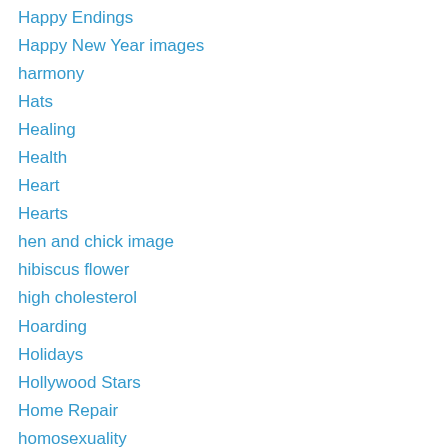Happy Endings
Happy New Year images
harmony
Hats
Healing
Health
Heart
Hearts
hen and chick image
hibiscus flower
high cholesterol
Hoarding
Holidays
Hollywood Stars
Home Repair
homosexuality
horizons
Horoscope
Horses
Hot Air Balloons